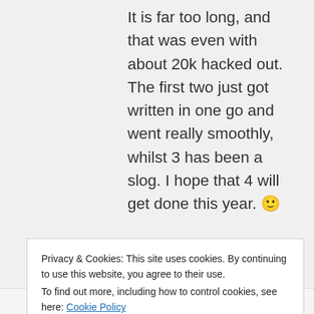It is far too long, and that was even with about 20k hacked out. The first two just got written in one go and went really smoothly, whilst 3 has been a slog. I hope that 4 will get done this year. 🙂
Privacy & Cookies: This site uses cookies. By continuing to use this website, you agree to their use. To find out more, including how to control cookies, see here: Cookie Policy
Close and accept
Liked by 2 people